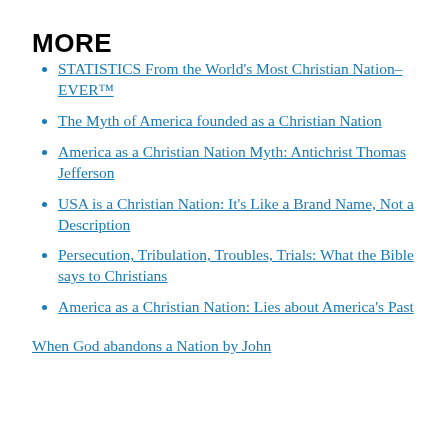MORE
STATISTICS From the World's Most Christian Nation–EVER™
The Myth of America founded as a Christian Nation
America as a Christian Nation Myth: Antichrist Thomas Jefferson
USA is a Christian Nation: It's Like a Brand Name, Not a Description
Persecution, Tribulation, Troubles, Trials: What the Bible says to Christians
America as a Christian Nation: Lies about America's Past
When God abandons a Nation by John